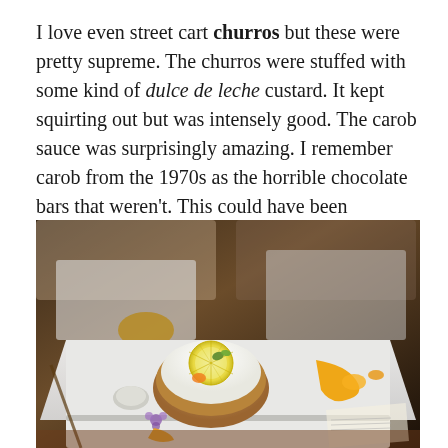I love even street cart churros but these were pretty supreme. The churros were stuffed with some kind of dulce de leche custard. It kept squirting out but was intensely good. The carob sauce was surprisingly amazing. I remember carob from the 1970s as the horrible chocolate bars that weren't. This could have been caramel.
[Figure (photo): A dessert plate on a white square plate featuring a round tart topped with white cream and a lemon slice, accompanied by orange mango coulis, a small round chocolate element, and a purple flower garnish. The background shows a blurred restaurant setting with dark wood and white plates.]